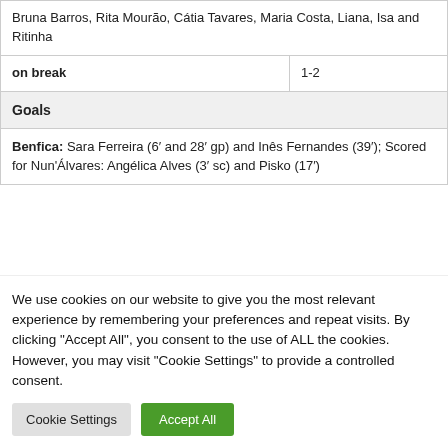| Bruna Barros, Rita Mourão, Cátia Tavares, Maria Costa, Liana, Isa and Ritinha |  |
| on break | 1-2 |
| Goals |  |
| Benfica: Sara Ferreira (6′ and 28′ gp) and Inês Fernandes (39′); Scored for Nun'Álvares: Angélica Alves (3′ sc) and Pisko (17′) |  |
We use cookies on our website to give you the most relevant experience by remembering your preferences and repeat visits. By clicking "Accept All", you consent to the use of ALL the cookies. However, you may visit "Cookie Settings" to provide a controlled consent.